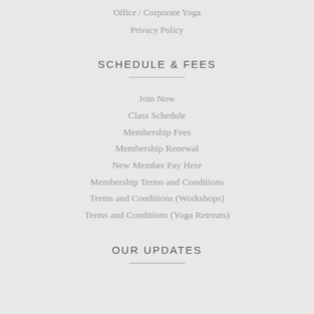Office / Corporate Yoga
Privacy Policy
SCHEDULE & FEES
Join Now
Class Schedule
Membership Fees
Membership Renewal
New Member Pay Here
Membership Terms and Conditions
Terms and Conditions (Workshops)
Terms and Conditions (Yoga Retreats)
OUR UPDATES